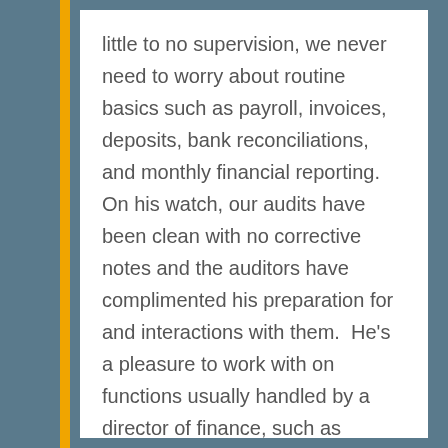little to no supervision, we never need to worry about routine basics such as payroll, invoices, deposits, bank reconciliations, and monthly financial reporting. On his watch, our audits have been clean with no corrective notes and the auditors have complimented his preparation for and interactions with them.  He's a pleasure to work with on functions usually handled by a director of finance, such as annual budgets, managerial cost analyses, grant budget compliance and reporting, cash flow projections, auditable control systems, financial and time recording